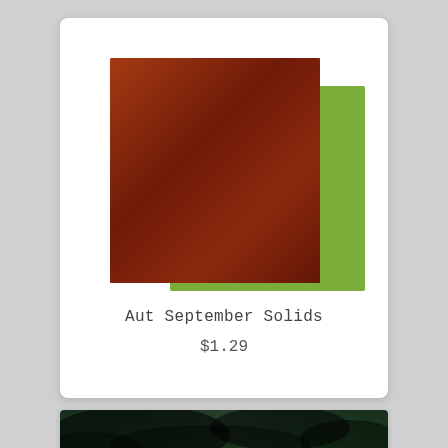[Figure (photo): Product card showing two overlapping fabric swatches: a large rust/brown textured swatch on top and a green swatch partially visible behind and below it.]
Aut September Solids
$1.29
[Figure (photo): Close-up photo of green fabric with dark shading/shadows at the top, showing a bright mint/lime green textile with dark brushed texture at the top edge.]